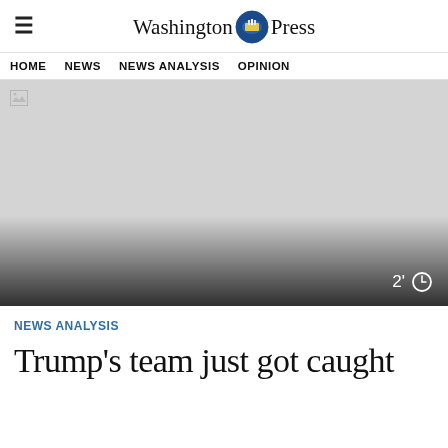Washington Press
HOME  NEWS  NEWS ANALYSIS  OPINION
[Figure (photo): Broken/unloaded hero image placeholder with gray background, gradient overlay at bottom, and a timer indicator showing '2' with a clock icon in the lower right corner.]
NEWS ANALYSIS
Trump's team just got caught